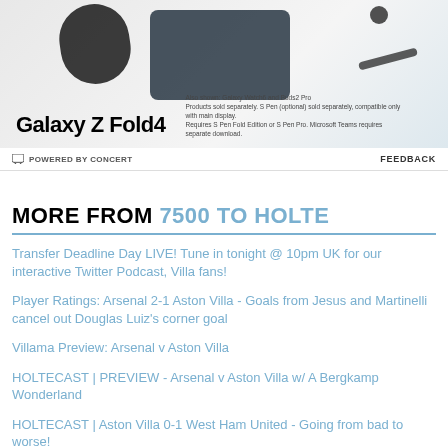[Figure (photo): Samsung Galaxy Z Fold4 advertisement banner showing phone, watch, and earbuds. Text reads 'Galaxy Z Fold4', 'Also shown: Galaxy Watch6 and Buds2 Pro', 'Products sold separately. S Pen (optional) sold separately, compatible only with main display. Requires S Pen Fold Edition or S Pen Pro. Microsoft Teams requires separate download.']
POWERED BY CONCERT
FEEDBACK
MORE FROM 7500 TO HOLTE
Transfer Deadline Day LIVE! Tune in tonight @ 10pm UK for our interactive Twitter Podcast, Villa fans!
Player Ratings: Arsenal 2-1 Aston Villa - Goals from Jesus and Martinelli cancel out Douglas Luiz's corner goal
Villama Preview: Arsenal v Aston Villa
HOLTECAST | PREVIEW - Arsenal v Aston Villa w/ A Bergkamp Wonderland
HOLTECAST | Aston Villa 0-1 West Ham United - Going from bad to worse!
Villama Preview: Aston Villa v West Ham United